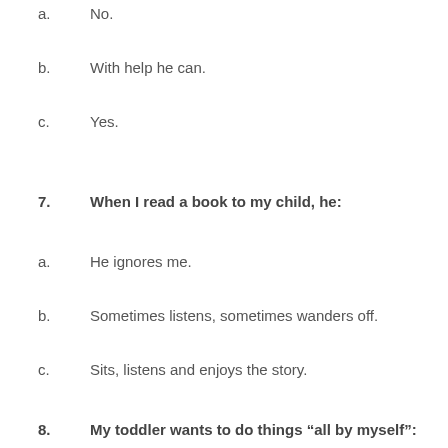a.    No.
b.    With help he can.
c.    Yes.
7.    When I read a book to my child, he:
a.    He ignores me.
b.    Sometimes listens, sometimes wanders off.
c.    Sits, listens and enjoys the story.
8.    My toddler wants to do things “all by myself”: